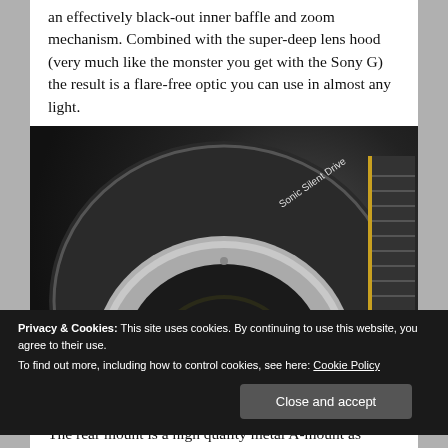an effectively black-out inner baffle and zoom mechanism. Combined with the super-deep lens hood (very much like the monster you get with the Sony G) the result is a flare-free optic you can use in almost any light.
[Figure (photo): Close-up photo of the rear of a camera lens (Tamron with Sonic Silent Drive label) showing the metal A-mount with gold electrical contacts and the lens glass element visible.]
Privacy & Cookies: This site uses cookies. By continuing to use this website, you agree to their use.
To find out more, including how to control cookies, see here: Cookie Policy
Close and accept
The rear mount is a high quality metal A-mount as